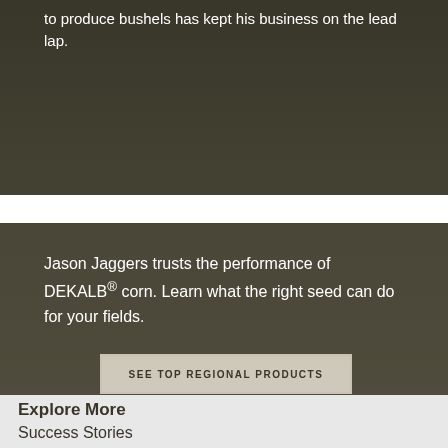to produce bushels has kept his business on the lead lap.
[Figure (photo): Dark agricultural background image showing a field, used as banner backdrop with text overlay.]
Jason Jaggers trusts the performance of DEKALB® corn. Learn what the right seed can do for your fields.
SEE TOP REGIONAL PRODUCTS
Explore More
Success Stories